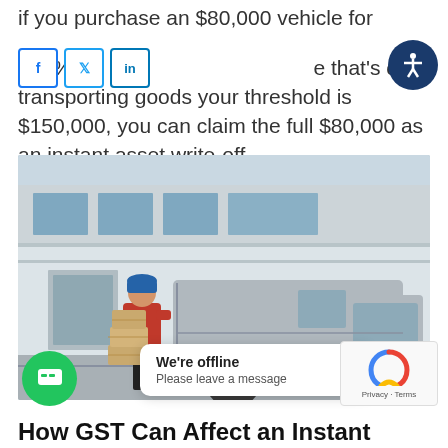if you purchase an $80,000 vehicle for 100% business use that's only transporting goods your threshold is $150,000, you can claim the full $80,000 as an instant asset write-off.
[Figure (photo): Delivery worker in red jacket and blue hat loading cardboard boxes into a grey cargo van outside a large industrial building.]
We're offline
Please leave a message
How GST Can Affect an Instant